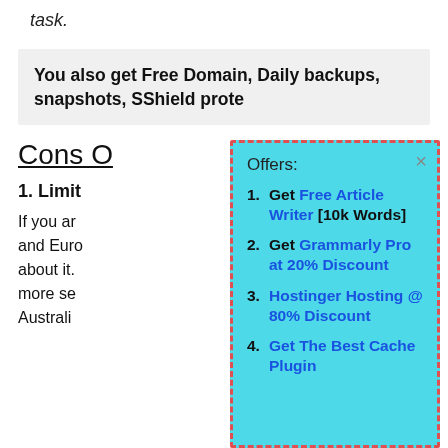task.
You also get Free Domain, Daily backups, snapshots, SShield prote…
Cons O…
1. Limit…
If you ar… and Euro… about it. more se… Australi…
[Figure (infographic): Popup box with cyan background and dashed red border. Contains 'Offers:' label and 4 numbered items: 1. Get Free Article Writer [10k Words], 2. Get Grammarly Pro at 20% Discount, 3. Hostinger Hosting @ 80% Discount, 4. Get The Best Cache Plugin. Has an X close button in top right.]